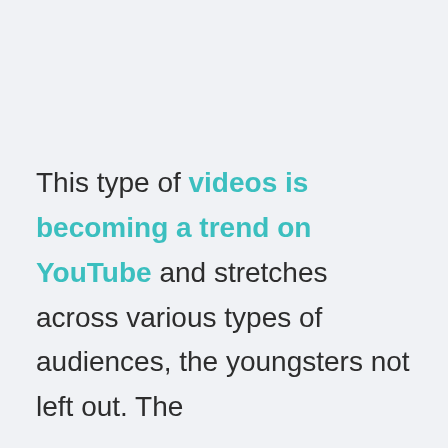This type of videos is becoming a trend on YouTube and stretches across various types of audiences, the youngsters not left out. The